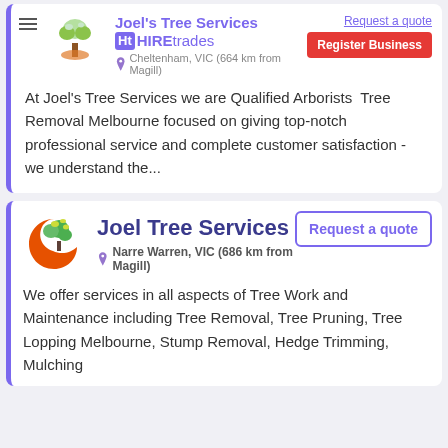Joel's Tree Services
HIREtrades · Cheltenham, VIC (664 km from Magill)
Request a quote · Register Business
At Joel's Tree Services we are Qualified Arborists  Tree Removal Melbourne focused on giving top-notch professional service and complete customer satisfaction - we understand the...
Joel Tree Services
Narre Warren, VIC (686 km from Magill)
Request a quote
We offer services in all aspects of Tree Work and Maintenance including Tree Removal, Tree Pruning, Tree Lopping Melbourne, Stump Removal, Hedge Trimming, Mulching